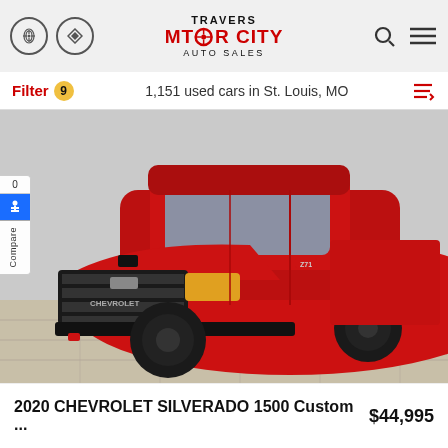TRAVERS MOTOR CITY AUTO SALES
Filter 9   1,151 used cars in St. Louis, MO
[Figure (photo): Red 2020 Chevrolet Silverado 1500 Custom pickup truck displayed in a dealership showroom with wood-look flooring and gray wall background]
2020 CHEVROLET SILVERADO 1500 Custom ...   $44,995